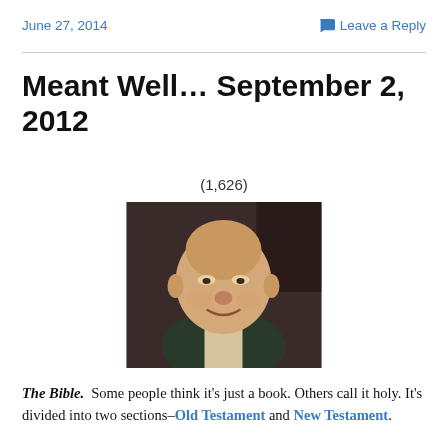June 27, 2014   Leave a Reply
Meant Well… September 2, 2012
(1,626)
[Figure (photo): A heavyset older man smiling at the camera, wearing a dark vest over a light shirt, photographed indoors with a dark background.]
The Bible.  Some people think it's just a book. Others call it holy. It's divided into two sections–Old Testament and New Testament.